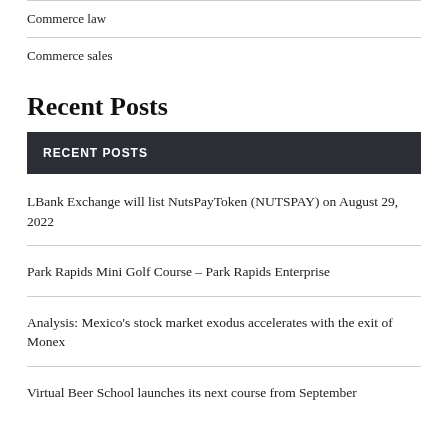Commerce law
Commerce sales
Recent Posts
RECENT POSTS
LBank Exchange will list NutsPayToken (NUTSPAY) on August 29, 2022
Park Rapids Mini Golf Course – Park Rapids Enterprise
Analysis: Mexico's stock market exodus accelerates with the exit of Monex
Virtual Beer School launches its next course from September